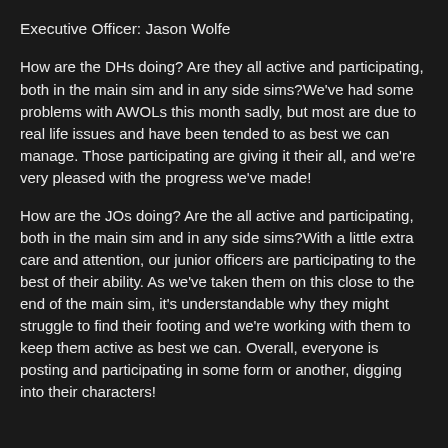Executive Officer: Jason Wolfe
How are the DHs doing? Are they all active and participating, both in the main sim and in any side sims?We've had some problems with AWOLs this month sadly, but most are due to real life issues and have been tended to as best we can manage. Those participating are giving it their all, and we're very pleased with the progress we've made!
How are the JOs doing? Are the all active and participating, both in the main sim and in any side sims?With a little extra care and attention, our junior officers are participating to the best of their ability. As we've taken them on this close to the end of the main sim, it's understandable why they might struggle to find their footing and we're working with them to keep them active as best we can. Overall, everyone is posting and participating in some form or another, digging into their characters!